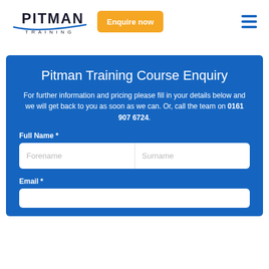[Figure (logo): Pitman Training logo with blue swoosh underline and 'PITMAN TRAINING' text]
[Figure (other): Orange 'Enquire now' button]
[Figure (other): Hamburger menu icon with three blue horizontal lines]
Pitman Training Course Enquiry
For further information and pricing please fill in your details below and we will get back to you as soon as we can. Or, call the team on 0161 907 6724.
Full Name *
Forename   Surname
Email *